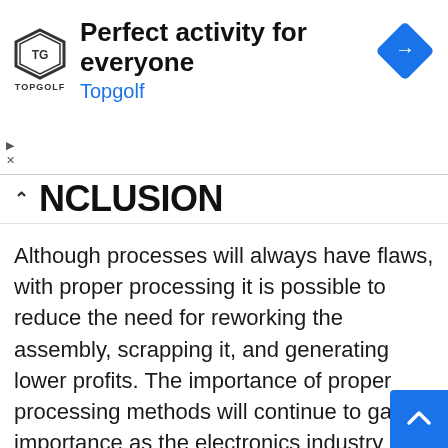[Figure (other): Topgolf advertisement banner with shield logo, text 'Perfect activity for everyone', 'Topgolf' in blue, and a blue navigation diamond icon on the right]
NCLUSION
Although processes will always have flaws, with proper processing it is possible to reduce the need for reworking the assembly, scrapping it, and generating lower profits. The importance of proper processing methods will continue to gain importance as the electronics industry makes denser assemblies with smaller components. This is why PCBWay provides footprint and stencil layouts for all of its connector series and also provides information on how to properly process